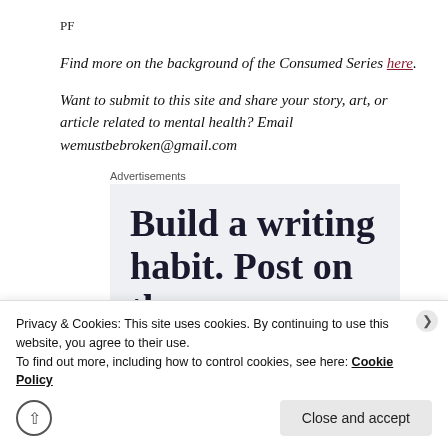PF
Find more on the background of the Consumed Series here.
Want to submit to this site and share your story, art, or article related to mental health? Email wemustbebroken@gmail.com
Advertisements
[Figure (other): Advertisement banner reading 'Build a writing habit. Post on the go']
Privacy & Cookies: This site uses cookies. By continuing to use this website, you agree to their use.
To find out more, including how to control cookies, see here: Cookie Policy